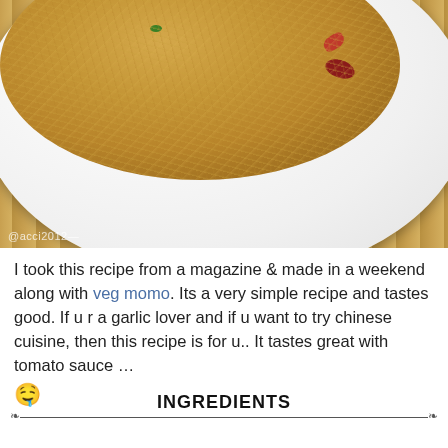[Figure (photo): A white plate of garlic fried rice with red chilies and green herbs, served on a bamboo mat. Watermark reads @acci2012]
I took this recipe from a magazine & made in a weekend along with veg momo. Its a very simple recipe and tastes good. If u r a garlic lover and if u want to try chinese cuisine, then this recipe is for u.. It tastes great with tomato sauce … 🤤
INGREDIENTS